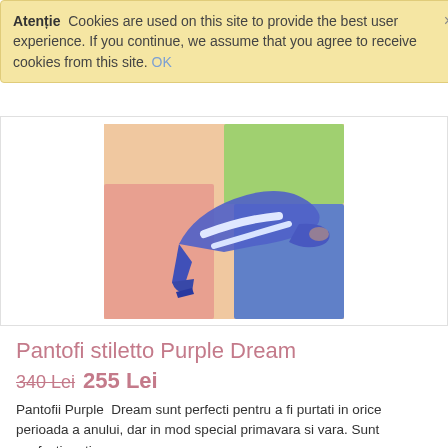Atenție  Cookies are used on this site to provide the best user experience. If you continue, we assume that you agree to receive cookies from this site. OK
[Figure (photo): Blue stiletto heels with white strap accents resting on pink boxes, displayed against a colorful background]
Pantofi stiletto Purple Dream
340 Lei  255 Lei
Pantofii Purple  Dream sunt perfecti pentru a fi purtati in orice perioada a anului, dar in mod special primavara si vara. Sunt confectionati...
Disponibilitate:   În stoc sau La comandă
Mai mult
Adaugă în WISHLIST